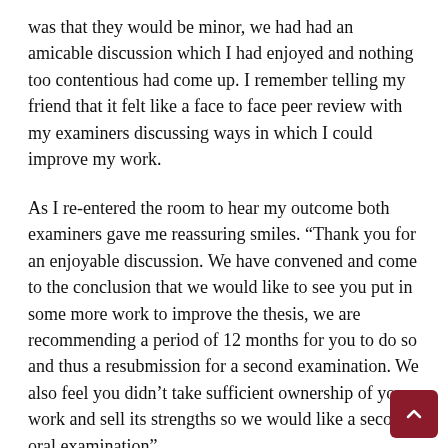was that they would be minor, we had had an amicable discussion which I had enjoyed and nothing too contentious had come up. I remember telling my friend that it felt like a face to face peer review with my examiners discussing ways in which I could improve my work.
As I re-entered the room to hear my outcome both examiners gave me reassuring smiles. “Thank you for an enjoyable discussion. We have convened and come to the conclusion that we would like to see you put in some more work to improve the thesis, we are recommending a period of 12 months for you to do so and thus a resubmission for a second examination. We also feel you didn’t take sufficient ownership of your work and sell its strengths so we would like a second oral examination”.